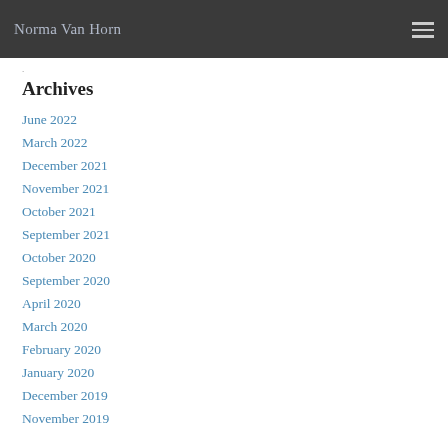Norma Van Horn
Archives
June 2022
March 2022
December 2021
November 2021
October 2021
September 2021
October 2020
September 2020
April 2020
March 2020
February 2020
January 2020
December 2019
November 2019